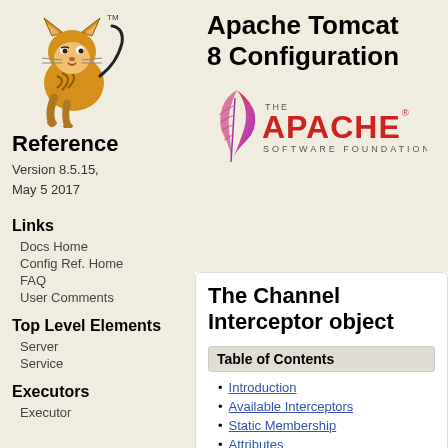[Figure (logo): Apache Tomcat cat mascot logo with TM mark]
Apache Tomcat 8 Configuration
Reference
Version 8.5.15, May 5 2017
[Figure (logo): The Apache Software Foundation logo with feather]
Links
Docs Home
Config Ref. Home
FAQ
User Comments
Top Level Elements
Server
Service
Executors
Executor
The Channel Interceptor object
Table of Contents
Introduction
Available Interceptors
Static Membership
Attributes
1. Common Attributes